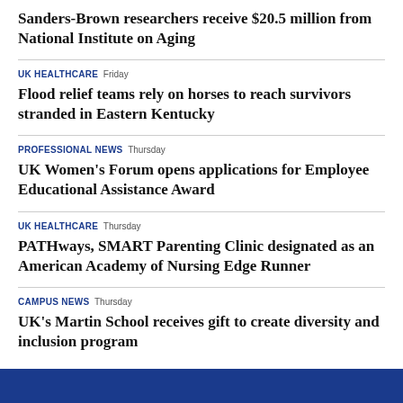Sanders-Brown researchers receive $20.5 million from National Institute on Aging
UK HEALTHCARE Friday
Flood relief teams rely on horses to reach survivors stranded in Eastern Kentucky
PROFESSIONAL NEWS Thursday
UK Women's Forum opens applications for Employee Educational Assistance Award
UK HEALTHCARE Thursday
PATHways, SMART Parenting Clinic designated as an American Academy of Nursing Edge Runner
CAMPUS NEWS Thursday
UK's Martin School receives gift to create diversity and inclusion program